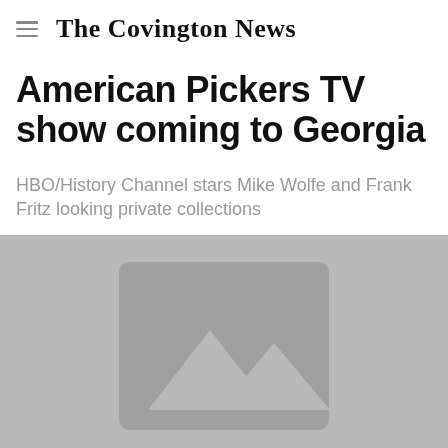The Covington News
American Pickers TV show coming to Georgia
HBO/History Channel stars Mike Wolfe and Frank Fritz looking private collections
[Figure (photo): Placeholder image with mountain/landscape icon on grey background]